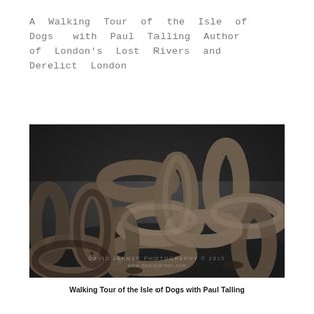A Walking Tour of the Isle of Dogs  with Paul Talling Author of London's Lost Rivers and Derelict London
[Figure (photo): Black and white close-up photograph of large rusted iron chain links piled on the ground, with a watermark reading 'DAVID JARMER PHOTOGRAPHY © 2015 www.davidjarmer.com']
Walking Tour of the Isle of Dogs with Paul Talling